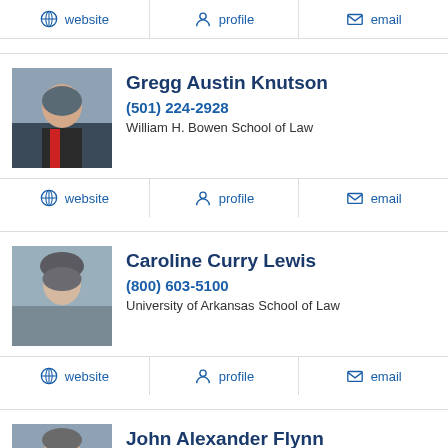website | profile | email
Gregg Austin Knutson
(501) 224-2928
William H. Bowen School of Law
website | profile | email
Caroline Curry Lewis
(800) 603-5100
University of Arkansas School of Law
website | profile | email
John Alexander Flynn